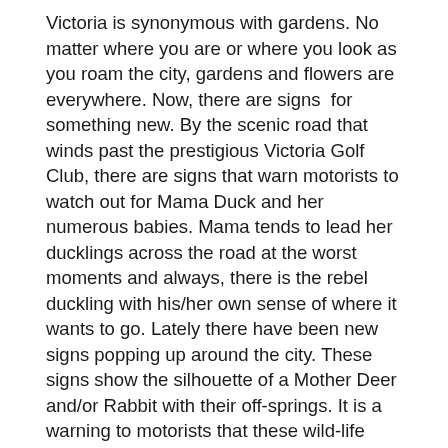Victoria is synonymous with gardens. No matter where you are or where you look as you roam the city, gardens and flowers are everywhere. Now, there are signs  for something new. By the scenic road that winds past the prestigious Victoria Golf Club, there are signs that warn motorists to watch out for Mama Duck and her numerous babies. Mama tends to lead her ducklings across the road at the worst moments and always, there is the rebel duckling with his/her own sense of where it wants to go. Lately there have been new signs popping up around the city. These signs show the silhouette of a Mother Deer and/or Rabbit with their off-springs. It is a warning to motorists that these wild-life frequently cross the road. It made me stop and ponder how the deer, raccoon, rabbits, squirrels and occasional cougar can survive in urban settings.
I use to work in an acute-care hospital outside the city limits and built on a piece of cleared wilderness. It is a strategic location for highway or industrial accidents